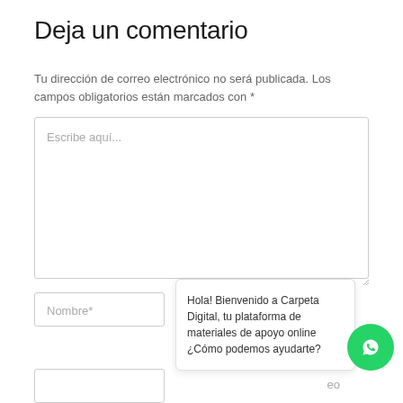Deja un comentario
Tu dirección de correo electrónico no será publicada. Los campos obligatorios están marcados con *
[Figure (screenshot): Large text input textarea with placeholder text 'Escribe aquí...' and a resize handle in the bottom-right corner]
[Figure (screenshot): Nombre* text input field]
Hola! Bienvenido a Carpeta Digital, tu plataforma de materiales de apoyo online ¿Cómo podemos ayudarte?
[Figure (illustration): WhatsApp green circle button with phone/chat icon]